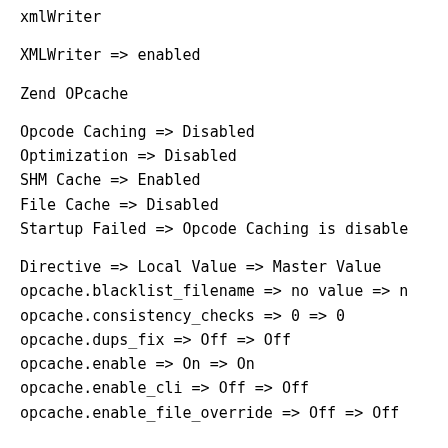xmlWriter
XMLWriter => enabled
Zend OPcache
Opcode Caching => Disabled
Optimization => Disabled
SHM Cache => Enabled
File Cache => Disabled
Startup Failed => Opcode Caching is disable
Directive => Local Value => Master Value
opcache.blacklist_filename => no value => n
opcache.consistency_checks => 0 => 0
opcache.dups_fix => Off => Off
opcache.enable => On => On
opcache.enable_cli => Off => Off
opcache.enable_file_override => Off => Off